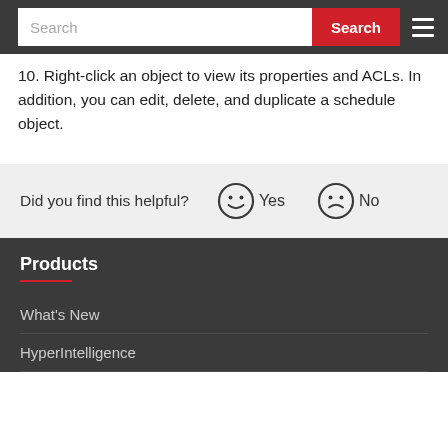Search
10. Right-click an object to view its properties and ACLs. In addition, you can edit, delete, and duplicate a schedule object.
Did you find this helpful? Yes No
Products
What's New
HyperIntelligence